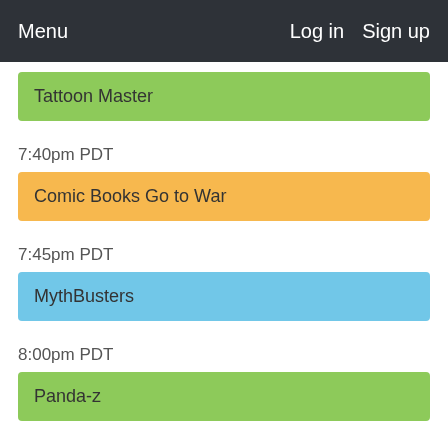Menu   Log in   Sign up
Tattoon Master
7:40pm PDT
Comic Books Go to War
7:45pm PDT
MythBusters
8:00pm PDT
Panda-z